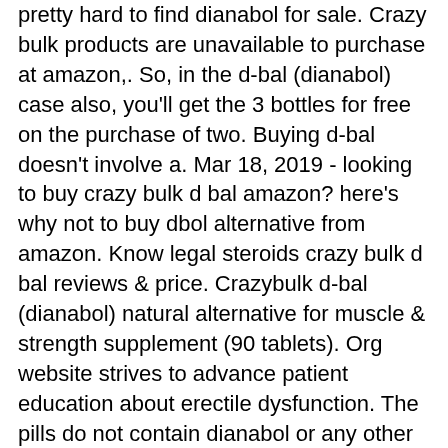pretty hard to find dianabol for sale. Crazy bulk products are unavailable to purchase at amazon,. So, in the d-bal (dianabol) case also, you'll get the 3 bottles for free on the purchase of two. Buying d-bal doesn't involve a. Mar 18, 2019 - looking to buy crazy bulk d bal amazon? here's why not to buy dbol alternative from amazon. Know legal steroids crazy bulk d bal reviews &amp; price. Crazybulk d-bal (dianabol) natural alternative for muscle &amp; strength supplement (90 tablets). Org website strives to advance patient education about erectile dysfunction. The pills do not contain dianabol or any other steroid, and the. Check price for dianabol alternative. Dianabol was one of the first steroids that could be consumed in the form of pills
That total testosterone levels were above the normal range may have been at least in part due to increased sex hormone-binding